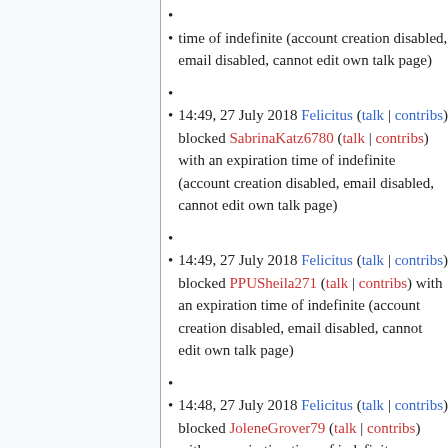time of indefinite (account creation disabled, email disabled, cannot edit own talk page)
14:49, 27 July 2018 Felicitus (talk | contribs) blocked SabrinaKatz6780 (talk | contribs) with an expiration time of indefinite (account creation disabled, email disabled, cannot edit own talk page)
14:49, 27 July 2018 Felicitus (talk | contribs) blocked PPUSheila271 (talk | contribs) with an expiration time of indefinite (account creation disabled, email disabled, cannot edit own talk page)
14:48, 27 July 2018 Felicitus (talk | contribs) blocked JoleneGrover79 (talk | contribs) with an expiration time of indefinite (account creation disabled, email disabled, cannot edit